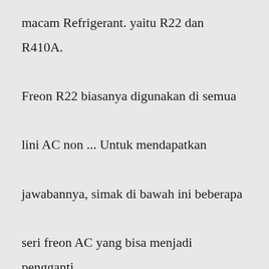macam Refrigerant. yaitu R22 dan R410A. Freon R22 biasanya digunakan di semua lini AC non ... Untuk mendapatkan jawabannya, simak di bawah ini beberapa seri freon AC yang bisa menjadi pengganti freon R22. Freon AC R410 Freon R410 memiliki karakteristik yang mirip dengan freon R22, yakni sulit terbakar. Selain itu, freon R410 juga memiliki faktor dalam perusakan ozon.Sehingga dengan